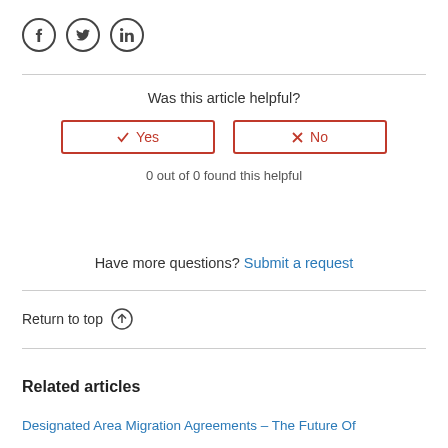[Figure (other): Social media sharing icons: Facebook, Twitter, LinkedIn]
Was this article helpful?
Yes  No
0 out of 0 found this helpful
Have more questions? Submit a request
Return to top ↑
Related articles
Designated Area Migration Agreements – The Future Of